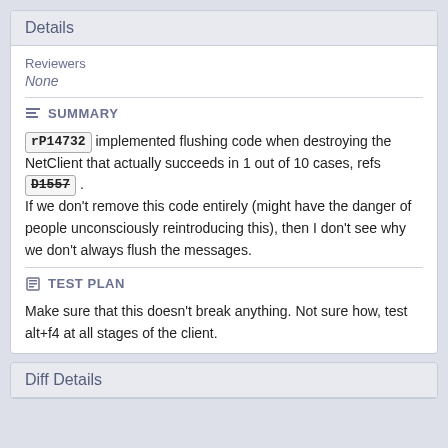Details
Reviewers
None
SUMMARY
rP14732 implemented flushing code when destroying the NetClient that actually succeeds in 1 out of 10 cases, refs D1557 . If we don't remove this code entirely (might have the danger of people unconsciously reintroducing this), then I don't see why we don't always flush the messages.
TEST PLAN
Make sure that this doesn't break anything. Not sure how, test alt+f4 at all stages of the client.
Diff Details